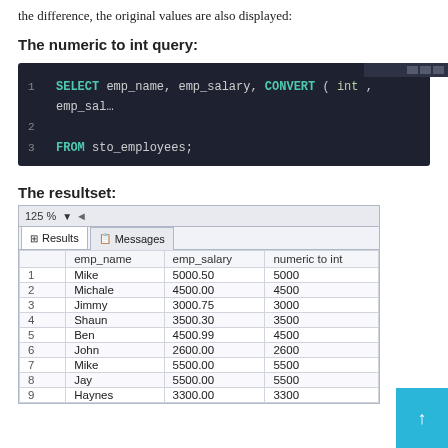the difference, the original values are also displayed:
The numeric to int query:
[Figure (screenshot): SQL code editor showing: SELECT emp_name, emp_salary, CONVERT(int, emp_salary) FROM sto_employees;]
The resultset:
|  | emp_name | emp_salary | numeric to int |
| --- | --- | --- | --- |
| 1 | Mike | 5000.50 | 5000 |
| 2 | Michale | 4500.00 | 4500 |
| 3 | Jimmy | 3000.75 | 3000 |
| 4 | Shaun | 3500.30 | 3500 |
| 5 | Ben | 4500.99 | 4500 |
| 6 | John | 2600.00 | 2600 |
| 7 | Mike | 5500.00 | 5500 |
| 8 | Jay | 5500.00 | 5500 |
| 9 | Haynes | 3300.00 | 3300 |